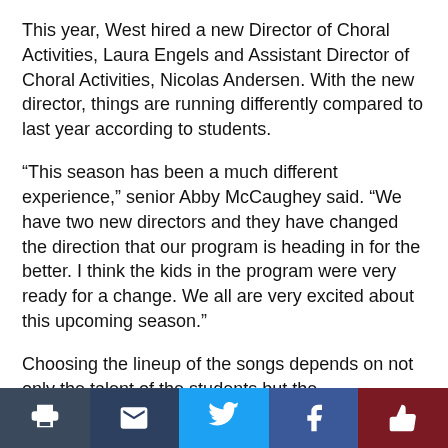This year, West hired a new Director of Choral Activities, Laura Engels and Assistant Director of Choral Activities, Nicolas Andersen. With the new director, things are running differently compared to last year according to students.
“This season has been a much different experience,” senior Abby McCaughey said. “We have two new directors and they have changed the direction that our program is heading in for the better. I think the kids in the program were very ready for a change. We all are very excited about this upcoming season.”
Choosing the lineup of the songs depends on not only the talent of the students but the